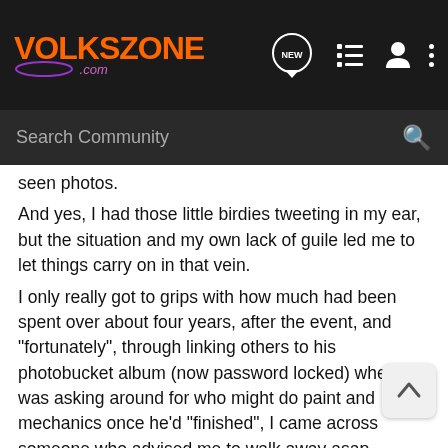[Figure (logo): Volkszone.com logo in orange and purple on dark background]
Search Community
seen photos.
And yes, I had those little birdies tweeting in my ear, but the situation and my own lack of guile led me to let things carry on in that vein.
I only really got to grips with how much had been spent over about four years, after the event, and "fortunately", through linking others to his photobucket album (now password locked) when I was asking around for who might do paint and mechanics once he'd "finished", I came across someone who advised me to walk away asap ...
I also started to hear of others who have fallen for the patter and the personality, with disastrous consequences of various kinds.
One of them apparently took a lot of persuading that anything was amiss because this welder was "such a nice guy".
You'll never read anything about it, not for front page...